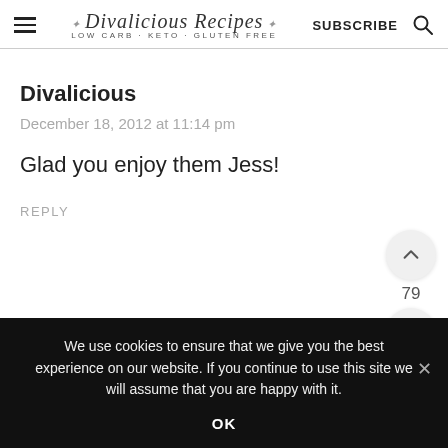Divalicious Recipes LOW CARB - KETO - GLUTEN FREE | SUBSCRIBE
Divalicious
December 18, 2012 at 11:14 pm
Glad you enjoy them Jess!
REPLY
We use cookies to ensure that we give you the best experience on our website. If you continue to use this site we will assume that you are happy with it.
OK